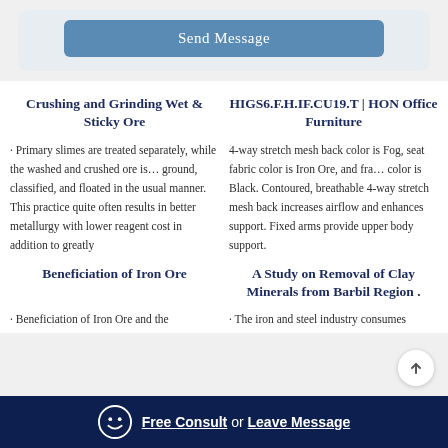[Figure (other): Send Message button in a light grey card at the top]
Crushing and Grinding Wet & Sticky Ore
HIGS6.F.H.IF.CU19.T | HON Office Furniture
· Primary slimes are treated separately, while the washed and crushed ore is… ground, classified, and floated in the usual manner. This practice quite often results in better metallurgy with lower reagent cost in addition to greatly
4-way stretch mesh back color is Fog, seat fabric color is Iron Ore, and fra… color is Black. Contoured, breathable 4-way stretch mesh back increases airflow and enhances support. Fixed arms provide upper body support.
Beneficiation of Iron Ore
A Study on Removal of Clay Minerals from Barbil Region .
· Beneficiation of Iron Ore and the
· The iron and steel industry consumes
Free Consult  or  Leave Message